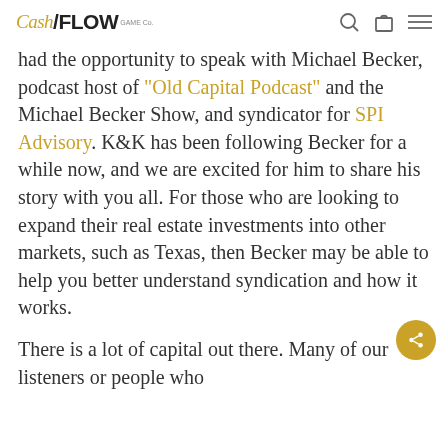CashFlow Game Co. [logo] [search icon] [bag icon] [menu icon]
had the opportunity to speak with Michael Becker, podcast host of "Old Capital Podcast" and the Michael Becker Show, and syndicator for SPI Advisory. K&K has been following Becker for a while now, and we are excited for him to share his story with you all. For those who are looking to expand their real estate investments into other markets, such as Texas, then Becker may be able to help you better understand syndication and how it works.
There is a lot of capital out there. Many of our listeners or people who